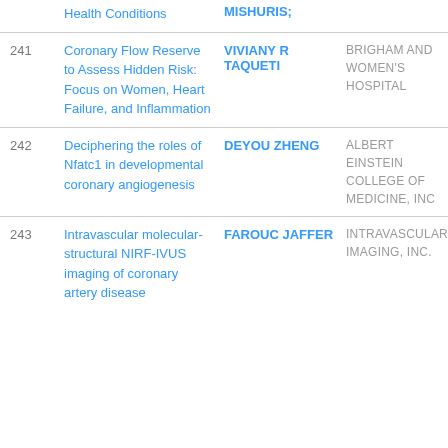| # | Title | Author | Organization | Date |
| --- | --- | --- | --- | --- |
|  | Health Conditions | MISHURIS; |  |  |
| 241 | Coronary Flow Reserve to Assess Hidden Risk: Focus on Women, Heart Failure, and Inflammation | VIVIANY R TAQUETI | BRIGHAM AND WOMEN'S HOSPITAL | 2018-05-18 |
| 242 | Deciphering the roles of Nfatc1 in developmental coronary angiogenesis | DEYOU ZHENG | ALBERT EINSTEIN COLLEGE OF MEDICINE, INC | 2018-05-17 |
| 243 | Intravascular molecular-structural NIRF-IVUS imaging of coronary artery disease | FAROUC JAFFER | INTRAVASCULAR IMAGING, INC. | 2018-05-15 |